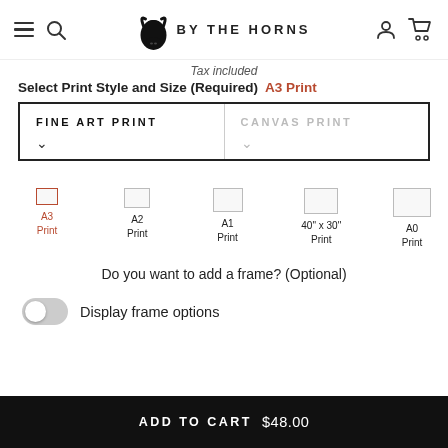BY THE HORNS — navigation header with hamburger menu, search, logo, account, and cart icons
Tax included
Select Print Style and Size (Required) A3 Print
FINE ART PRINT (selected) / CANVAS PRINT
A3 Print | A2 Print | A1 Print | 40" x 30" Print | A0 Print
Do you want to add a frame? (Optional)
Display frame options
ADD TO CART $48.00